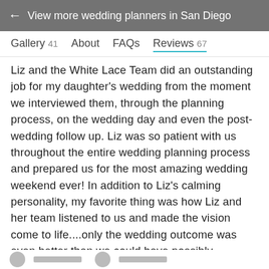← View more wedding planners in San Diego
Gallery 41   About   FAQs   Reviews 67
Liz and the White Lace Team did an outstanding job for my daughter's wedding from the moment we interviewed them, through the planning process, on the wedding day and even the post-wedding follow up. Liz was so patient with us throughout the entire wedding planning process and prepared us for the most amazing wedding weekend ever! In addition to Liz's calming personality, my favorite thing was how Liz and her team listened to us and made the vision come to life....only the wedding outcome was even better than we could have possibly imagined. Loved, loved, loved working with Liz and the White Lace team and will be forever grateful for their work and dedication to making certain that we had the most perfect day ever for the Bride and Groom and all of our guests.